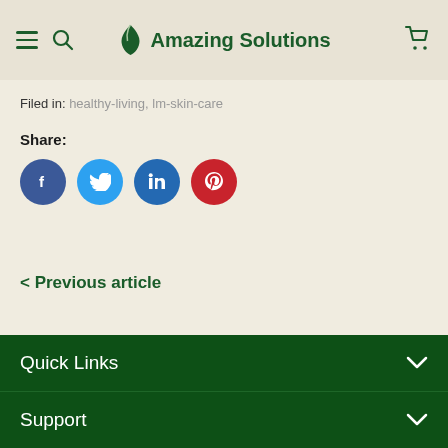Amazing Solutions
Filed in: healthy-living, lm-skin-care
Share:
[Figure (infographic): Social media share icons: Facebook (blue circle with f), Twitter (light blue circle with bird), LinkedIn (dark blue circle with in), Pinterest (red circle with P)]
< Previous article
Quick Links
Support